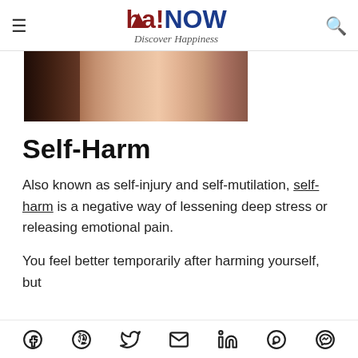Aha!NOW Discover Happiness
[Figure (photo): Close-up photo of a person's neck/shoulder area, partially cropped, with dark hair visible on left side]
Self-Harm
Also known as self-injury and self-mutilation, self-harm is a negative way of lessening deep stress or releasing emotional pain.
You feel better temporarily after harming yourself, but
Social share icons: Facebook, Pinterest, Twitter, Email, LinkedIn, WhatsApp, Messenger